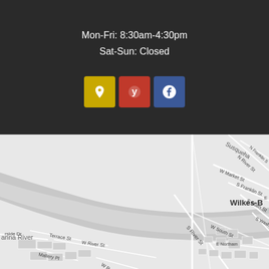Mon-Fri: 8:30am-4:30pm
Sat-Sun: Closed
[Figure (infographic): Three social media icon buttons: Google Maps (gold/yellow), Yelp (red), Facebook (blue)]
[Figure (map): Street map showing the Susquehanna River area near Wilkes-Barre, PA. Streets visible include N River St, W Market St, N Franklin St, S Franklin St, S Main St, S River St, W South St, Terrace St, W River St, Mallery Pl, E Northam St, S Washington St, and Riverside Dr. The river curves through the map.]